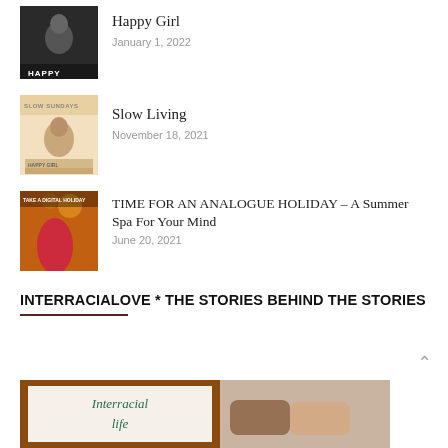[Figure (photo): Black and white photo thumbnail with HAPPY text overlay, person looking up]
Happy Girl
January 1, 2022
[Figure (photo): Magazine cover thumbnail: SLOW SUNDAYS, HAPPY GIRL, woman with curly hair]
Slow Living
November 18, 2021
[Figure (photo): Autumn photo thumbnail with TAKE A DIGITAL HOLIDAY text, woman in red among fall leaves]
TIME FOR AN ANALOGUE HOLIDAY – A Summer Spa For Your Mind
June 20, 2021
INTERRACIALOVE * THE STORIES BEHIND THE STORIES
[Figure (photo): Two-panel image: left panel brown-framed sign with cursive Interracial text on cream background; right panel two people holding hands]